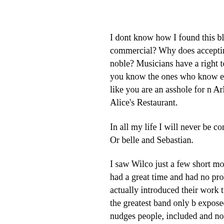I dont know how I found this blog. But wh commercial? Why does accepting money and noble? Musicians have a right to be attitude, you know the ones who know ev and then act like you are an asshole for n Arlo Guthrie's Alice's Restaurant.
In all my life I will never be convinced Ja Eno. Or belle and Sebastian.
I saw Wilco just a few short months ago, drunk, had a great time and had no prob and have actually introduced their work t Nickleback was the greatest band only b exposed them to. Subtle nudges people, included and not excluded... To have frie
So I say "Viva la Tweedy!" Go make your industry puts together another musical e with a Wilco sound then rapes and pillag Think Nirvana doing The Replacements for one more whine-a-thon. The Escape music...and who had the balls to sue Ge